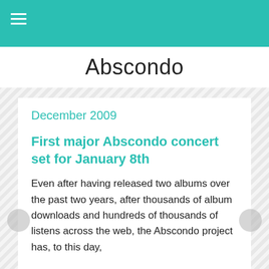Abscondo
December 2009
First major Abscondo concert set for January 8th
Even after having released two albums over the past two years, after thousands of album downloads and hundreds of thousands of listens across the web, the Abscondo project has, to this day,